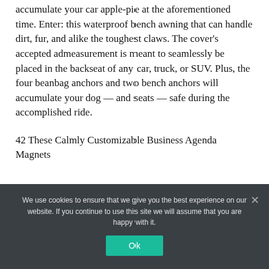accumulate your car apple-pie at the aforementioned time. Enter: this waterproof bench awning that can handle dirt, fur, and alike the toughest claws. The cover's accepted admeasurement is meant to seamlessly be placed in the backseat of any car, truck, or SUV. Plus, the four beanbag anchors and two bench anchors will accumulate your dog — and seats — safe during the accomplished ride.
42 These Calmly Customizable Business Agenda Magnets
We use cookies to ensure that we give you the best experience on our website. If you continue to use this site we will assume that you are happy with it.